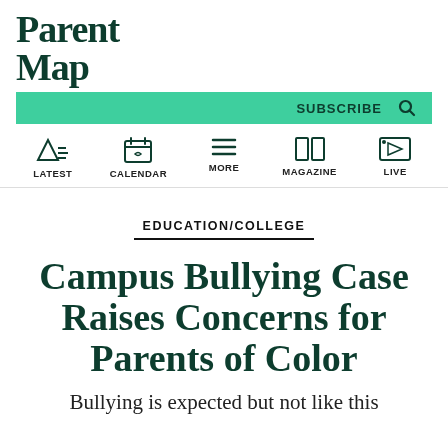ParentMap
EDUCATION/COLLEGE
Campus Bullying Case Raises Concerns for Parents of Color
Bullying is expected but not like this